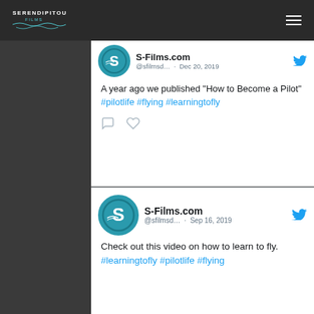Serendipitous Films — navigation bar
S-Films.com @sfilmsd… · Dec 20, 2019
A year ago we published "How to Become a Pilot" #pilotlife #flying #learningtofly
S-Films.com @sfilmsd… · Sep 16, 2019
Check out this video on how to learn to fly. #learningtofly #pilotlife #flying
[Figure (screenshot): Speech bubble image with text 'How to Become a Pilot']